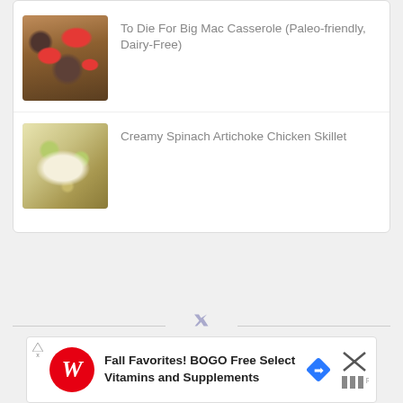To Die For Big Mac Casserole (Paleo-friendly, Dairy-Free)
[Figure (photo): Photo of a Big Mac Casserole with ground meat, tomatoes, and vegetables]
Creamy Spinach Artichoke Chicken Skillet
[Figure (photo): Photo of a creamy spinach artichoke chicken skillet dish]
Fall Favorites! BOGO Free Select Vitamins and Supplements